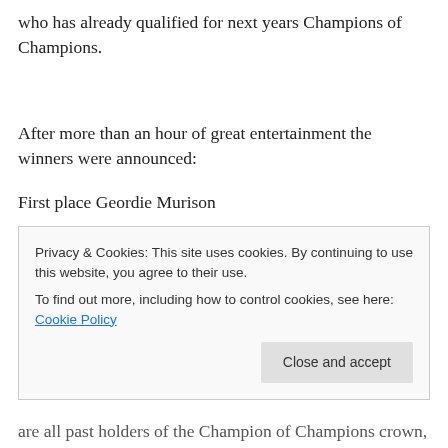who has already qualified for next years Champions of Champions.
After more than an hour of great entertainment the winners were announced:
First place Geordie Murison
Second equal Shona Donaldson and Hector Riddell
Privacy & Cookies: This site uses cookies. By continuing to use this website, you agree to their use. To find out more, including how to control cookies, see here: Cookie Policy
are all past holders of the Champion of Champions crown,